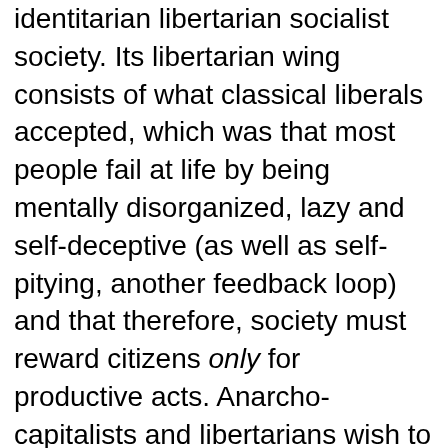identitarian libertarian socialist society. Its libertarian wing consists of what classical liberals accepted, which was that most people fail at life by being mentally disorganized, lazy and self-deceptive (as well as self-pitying, another feedback loop) and that therefore, society must reward citizens only for productive acts. Anarcho-capitalists and libertarians wish to bring this “Social Darwinism” back in the present time instead of the subsidy before productivity that is the hallmark of socialist states.

Unlike the New Right, Neoreaction has both